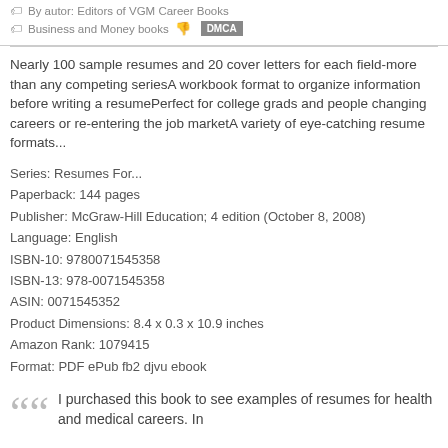By autor: Editors of VGM Career Books
Business and Money books
Nearly 100 sample resumes and 20 cover letters for each field-more than any competing seriesA workbook format to organize information before writing a resumePerfect for college grads and people changing careers or re-entering the job marketA variety of eye-catching resume formats...
Series: Resumes For...
Paperback: 144 pages
Publisher: McGraw-Hill Education; 4 edition (October 8, 2008)
Language: English
ISBN-10: 9780071545358
ISBN-13: 978-0071545358
ASIN: 0071545352
Product Dimensions: 8.4 x 0.3 x 10.9 inches
Amazon Rank: 1079415
Format: PDF ePub fb2 djvu ebook
I purchased this book to see examples of resumes for health and medical careers. In